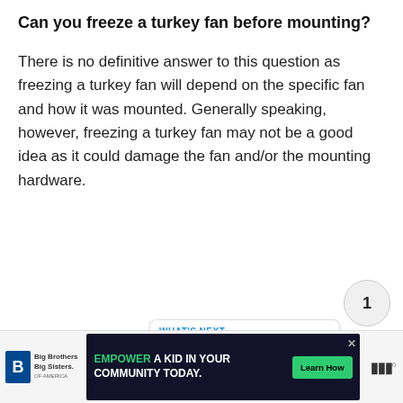Can you freeze a turkey fan before mounting?
There is no definitive answer to this question as freezing a turkey fan will depend on the specific fan and how it was mounted. Generally speaking, however, freezing a turkey fan may not be a good idea as it could damage the fan and/or the mounting hardware.
[Figure (infographic): Heart/like button (blue circle with heart icon), count badge showing '1', and share button (gray circle with share icon)]
[Figure (infographic): What's Next card with blue arrow text 'WHAT'S NEXT', thumbnail image with green chat icon, and title 'How do I delete my...']
[Figure (infographic): Advertisement bar at bottom: Big Brothers Big Sisters logo on left, dark banner with 'EMPOWER A KID IN YOUR COMMUNITY TODAY.' text, green Learn How button, right logo 'W']